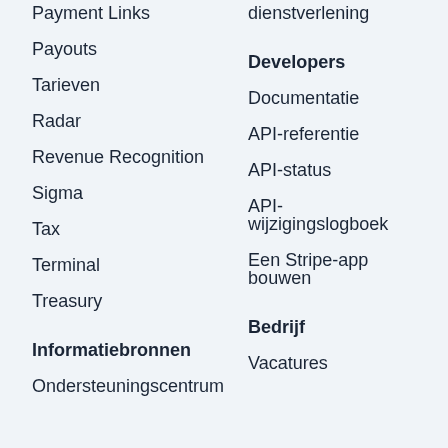Payment Links
dienstverlening
Payouts
Developers
Tarieven
Documentatie
Radar
API-referentie
Revenue Recognition
API-status
Sigma
API-wijzigingslogboek
Tax
Een Stripe-app bouwen
Terminal
Treasury
Informatiebronnen
Bedrijf
Ondersteuningscentrum
Vacatures
You're viewing our website for Austria, but it looks like you're in the United States.
Switch to the United States site ›
Jaarlijks event